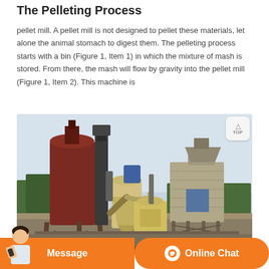The Pelleting Process
pellet mill. A pellet mill is not designed to pellet these materials, let alone the animal stomach to digest them. The pelleting process starts with a bin (Figure 1, Item 1) in which the mixture of mash is stored. From there, the mash will flow by gravity into the pellet mill (Figure 1, Item 2). This machine is
[Figure (photo): Photograph of an industrial pellet mill facility showing large cylindrical silos, conveyor systems, and processing equipment outdoors.]
Message   Online Chat